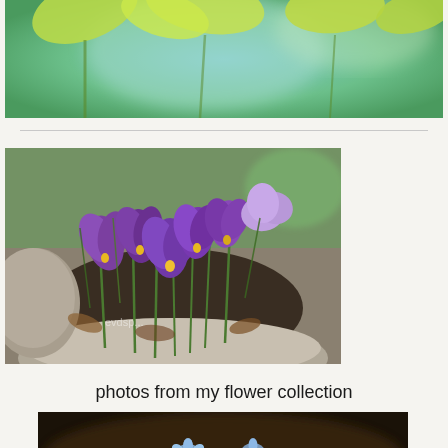[Figure (photo): Top cropped photo showing yellow-green leaves and blurred teal/green background]
[Figure (photo): Purple crocus flowers blooming in a stone garden bed with soil and dried leaves, watermark 'evdsp...']
photos from my flower collection
[Figure (photo): Small blue forget-me-not flowers with green leaves on dark background]